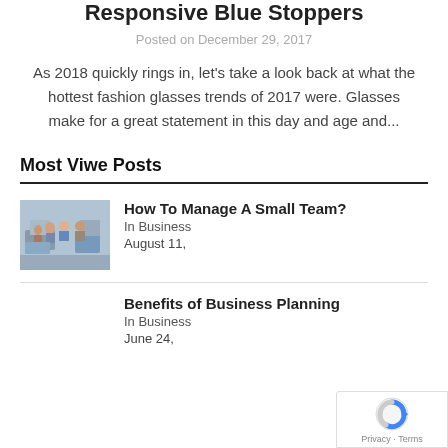Responsive Blue Stoppers
Posted on December 29, 2017
As 2018 quickly rings in, let's take a look back at what the hottest fashion glasses trends of 2017 were. Glasses make for a great statement in this day and age and...
Most Viwe Posts
How To Manage A Small Team?
In Business
August 11,
Benefits of Business Planning
In Business
June 24,